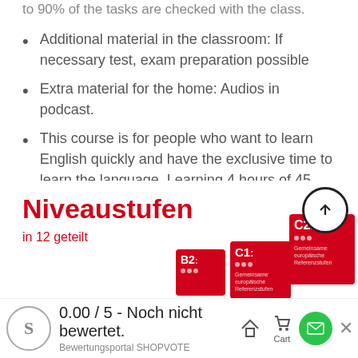to 90% of the tasks are checked with the class.
Additional material in the classroom: If necessary test, exam preparation possible
Extra material for the home: Audios in podcast.
This course is for people who want to learn English quickly and have the exclusive time to learn the language. Learning 4 hours of 45 minutes a day can be a bit exhausting, but NOT in Lima Sprachschule!
Our teachers are 100% motivated and ready to have a 100% dynamic class.
[Figure (infographic): Niveaustufen in 12 geteilt — German language level infographic showing CEFR badges B2, C1, C2 in red]
0.00 / 5 - Noch nicht bewertet. Bewertungsportal SHOPVOTE